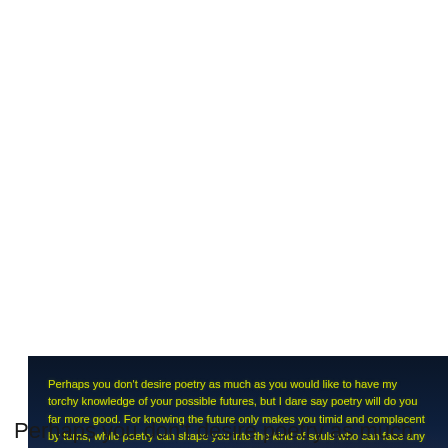[Figure (illustration): Dark nighttime sky with clouds and mountains silhouette in background. Yellow text quote overlaid on the dark scene.]
Perhaps you don't desire poetry as much as you would like to have my torchy knowledge of your possible futures, but I dare say poetry will do you far more good. For knowing the future only makes you timid and complacent by turns, while poetry can shape you into the kind of souls who can face any future with boldness and wisdom and nobility, so that you need not know the future at all, so that any future will be an opportunity for greatness, if you have greatness in you.
~ Author: Orson Scott Card
Perhaps you don't desire poetry as much as you would like to have my torchy knowledge of your